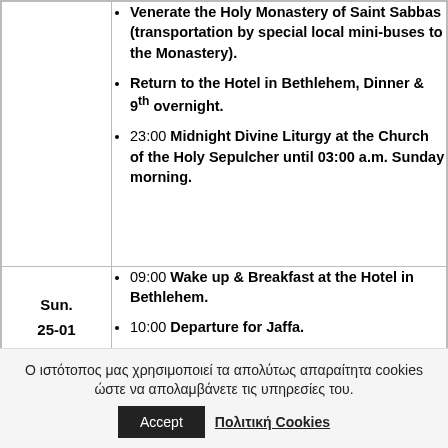| Day | Activities |
| --- | --- |
|  | Venerate the Holy Monastery of Saint Sabbas (transportation by special local mini-buses to the Monastery).
Return to the Hotel in Bethlehem, Dinner & 9th overnight.
23:00 Midnight Divine Liturgy at the Church of the Holy Sepulcher until 03:00 a.m. Sunday morning. |
| Sun.
25-01 | 09:00 Wake up & Breakfast at the Hotel in Bethlehem.
10:00 Departure for Jaffa. |
Ο ιστότοπος μας χρησιμοποιεί τα απολύτως απαραίτητα cookies ώστε να απολαμβάνετε τις υπηρεσίες του.
Accept
Πολιτική Cookies